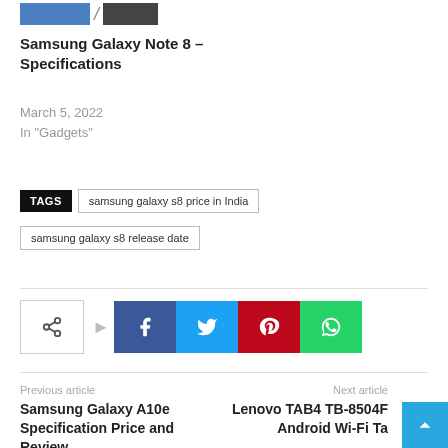[Figure (screenshot): Partial product image strip showing blue and dark colored phone/tablet images]
Samsung Galaxy Note 8 – Specifications
March 5, 2022
In "Gadgets"
TAGS  samsung galaxy s8 price in India  samsung galaxy s8 release date
[Figure (infographic): Social share buttons: share icon, Facebook, Twitter, Pinterest, WhatsApp]
Previous article
Samsung Galaxy A10e Specification Price and Review
Next article
Lenovo TAB4 TB-8504F Android Wi-Fi Ta…